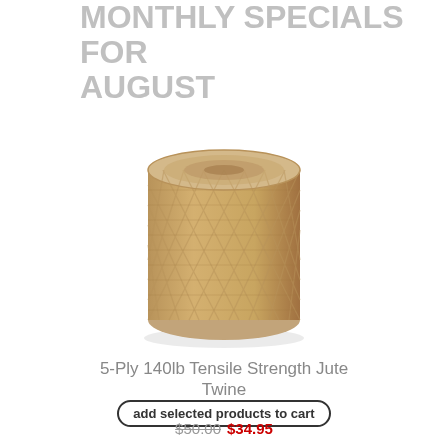MONTHLY SPECIALS FOR AUGUST
[Figure (photo): A spool/roll of natural jute twine with criss-cross wound strands, cylindrical shape, tan/beige color]
5-Ply 140lb Tensile Strength Jute Twine
add selected products to cart
$50.00 $34.95